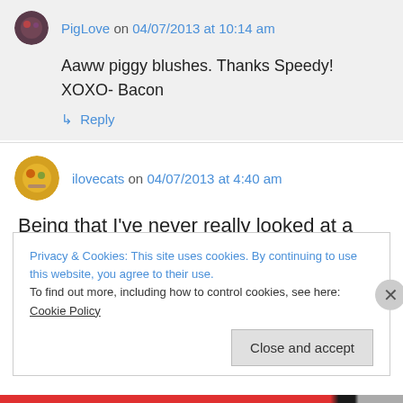PigLove on 04/07/2013 at 10:14 am
Aaww piggy blushes. Thanks Speedy!
XOXO- Bacon
↳ Reply
ilovecats on 04/07/2013 at 4:40 am
Being that I've never really looked at a pigs rear end before…yours is cute.
Privacy & Cookies: This site uses cookies. By continuing to use this website, you agree to their use.
To find out more, including how to control cookies, see here: Cookie Policy
Close and accept